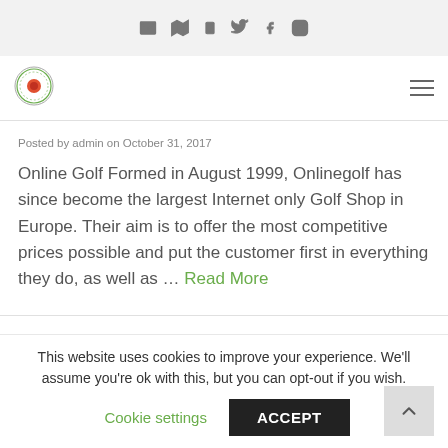Icon navigation bar with mail, map, phone, twitter, facebook, instagram icons
[Figure (logo): Circular logo with red and green design, golf club crest]
Posted by admin on October 31, 2017
Online Golf Formed in August 1999, Onlinegolf has since become the largest Internet only Golf Shop in Europe. Their aim is to offer the most competitive prices possible and put the customer first in everything they do, as well as … Read More
This website uses cookies to improve your experience. We'll assume you're ok with this, but you can opt-out if you wish.
Cookie settings   ACCEPT